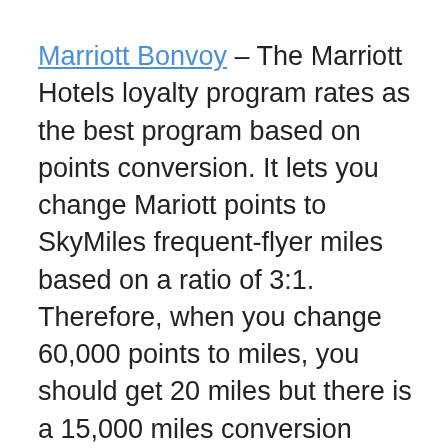Marriott Bonvoy – The Marriott Hotels loyalty program rates as the best program based on points conversion. It lets you change Mariott points to SkyMiles frequent-flyer miles based on a ratio of 3:1. Therefore, when you change 60,000 points to miles, you should get 20 miles but there is a 15,000 miles conversion bonus which lets you get up to 35,000 miles.
Airbnb which partners with SkyMiles proposes more than 5 million exclusive houses to select from for your subsequent stopover. You get miles during the duration of your stay (1 mile for every $1 expended) or accommodating with Airbnb